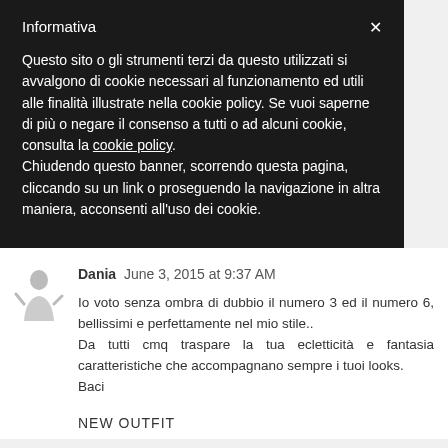Informativa
Questo sito o gli strumenti terzi da questo utilizzati si avvalgono di cookie necessari al funzionamento ed utili alle finalità illustrate nella cookie policy. Se vuoi saperne di più o negare il consenso a tutti o ad alcuni cookie, consulta la cookie policy. Chiudendo questo banner, scorrendo questa pagina, cliccando su un link o proseguendo la navigazione in altra maniera, acconsenti all'uso dei cookie.
Dania  June 3, 2015 at 9:37 AM
Io voto senza ombra di dubbio il numero 3 ed il numero 6, bellissimi e perfettamente nel mio stile..
Da tutti cmq traspare la tua ecletticità e fantasia caratteristiche che accompagnano sempre i tuoi looks.
Baci
NEW OUTFIT